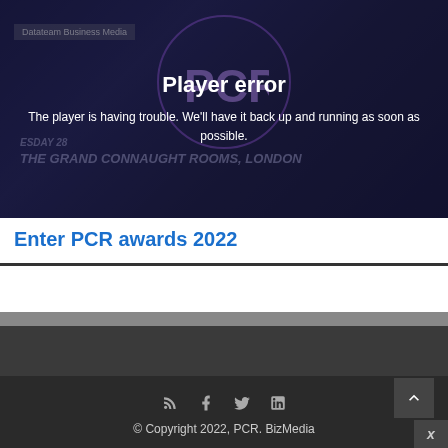[Figure (screenshot): Video player showing player error overlay on dark background with PCR awards imagery. Shows 'Datateam Business Media' label top-left, PCR logo circle, event text 'THE GRAND CONNAUGHT ROOMS, LONDON' visible behind overlay. Player error message displayed in center.]
Player error
The player is having trouble. We'll have it back up and running as soon as possible.
Enter PCR awards 2022
© Copyright 2022, PCR. BizMedia